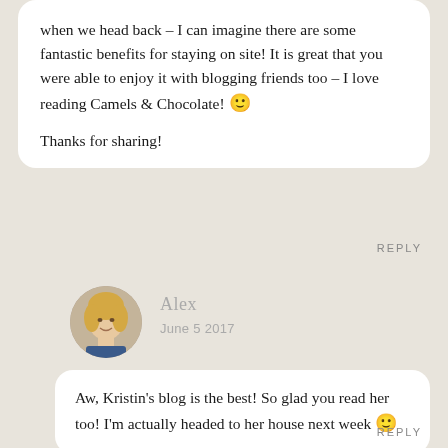when we head back – I can imagine there are some fantastic benefits for staying on site! It is great that you were able to enjoy it with blogging friends too – I love reading Camels & Chocolate! 🙂

Thanks for sharing!
REPLY
[Figure (photo): Circular avatar photo of a blonde woman named Alex]
Alex
June 5 2017
Aw, Kristin's blog is the best! So glad you read her too! I'm actually headed to her house next week 🙂
REPLY